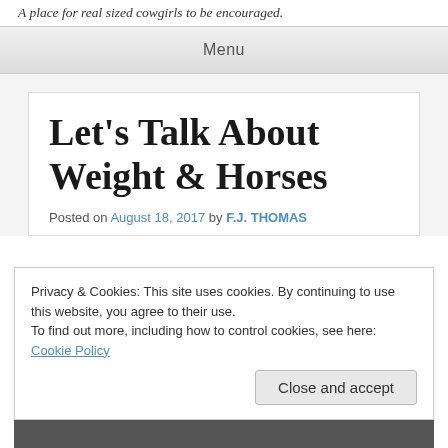A place for real sized cowgirls to be encouraged.
Menu
Let's Talk About Weight & Horses
Posted on August 18, 2017 by F.J. THOMAS
Privacy & Cookies: This site uses cookies. By continuing to use this website, you agree to their use.
To find out more, including how to control cookies, see here: Cookie Policy
Close and accept